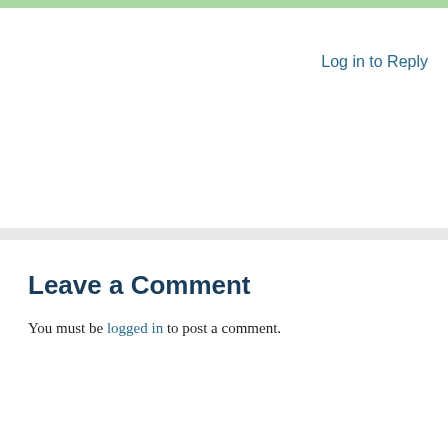Log in to Reply
Leave a Comment
You must be logged in to post a comment.
Search ...